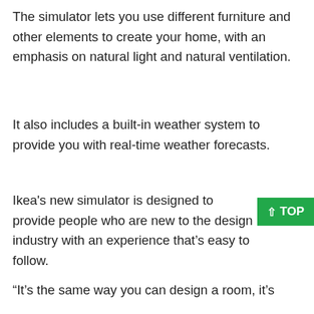The simulator lets you use different furniture and other elements to create your home, with an emphasis on natural light and natural ventilation.
It also includes a built-in weather system to provide you with real-time weather forecasts.
Ikea's new simulator is designed to provide people who are new to the design industry with an experience that's easy to follow.
“It’s the same way you can design a room, it’s